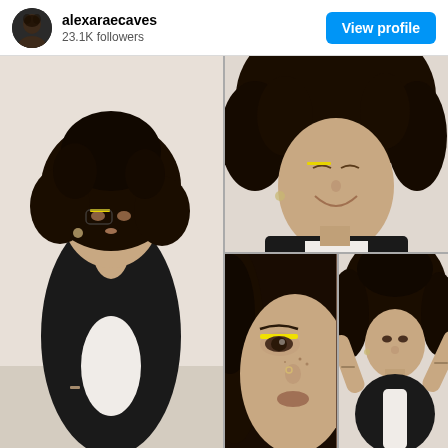alexaraecaves · 23.1K followers · View profile
[Figure (photo): Instagram profile post grid showing four photos of a young woman with curly dark hair wearing a black blazer over a white top with yellow eye makeup. Top-left: full-body side pose. Top-right: smiling close-up. Bottom-left: extreme close-up face showing yellow eyeliner. Bottom-right: standing pose with hands in hair.]